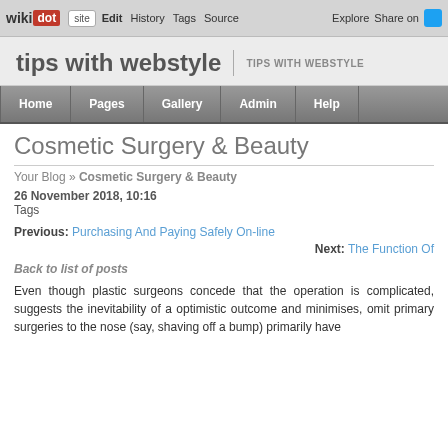wiki dot | site | Edit | History | Tags | Source | Explore | Share on
tips with webstyle | TIPS WITH WEBSTYLE
Home  Pages  Gallery  Admin  Help
Cosmetic Surgery & Beauty
Your Blog » Cosmetic Surgery & Beauty
26 November 2018, 10:16
Tags
Previous: Purchasing And Paying Safely On-line
Next: The Function Of
Back to list of posts
Even though plastic surgeons concede that the operation is complicated, suggests the inevitability of a optimistic outcome and minimises, omit primary surgeries to the nose (say, shaving off a bump) primarily have